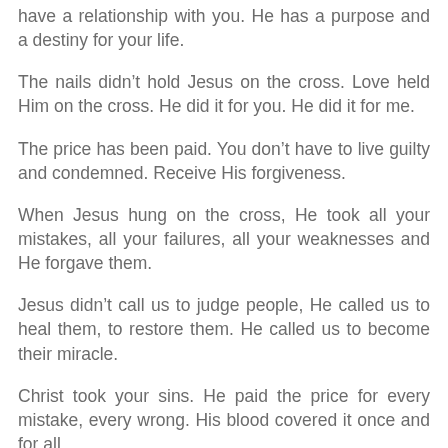have a relationship with you. He has a purpose and a destiny for your life.
The nails didn’t hold Jesus on the cross. Love held Him on the cross. He did it for you. He did it for me.
The price has been paid. You don’t have to live guilty and condemned. Receive His forgiveness.
When Jesus hung on the cross, He took all your mistakes, all your failures, all your weaknesses and He forgave them.
Jesus didn’t call us to judge people, He called us to heal them, to restore them. He called us to become their miracle.
Christ took your sins. He paid the price for every mistake, every wrong. His blood covered it once and for all.